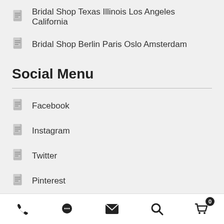Bridal Shop Texas Illinois Los Angeles California
Bridal Shop Berlin Paris Oslo Amsterdam
Social Menu
Facebook
Instagram
Twitter
Pinterest
Whatsapp